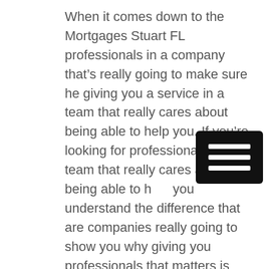When it comes down to the Mortgages Stuart FL professionals in a company that's really going to make sure he giving you a service in a team that really cares about being able to help you. If you're looking for professionals and a team that really cares about being able to help you understand the difference that are companies really going to show you why giving you professionals that matters is really going to be the next step in getting it what you want. If you're looking for a team in a company that's really going to get you the help in the professionals that you're gonna be happy with today then your can it be able to find that our company is going to make it available today.
[Figure (other): Black hamburger menu icon with three horizontal white bars on a black rounded rectangle background]
As soon as you decide that you're looking for a